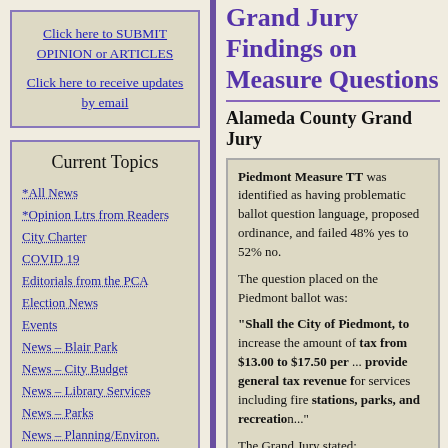Click here to SUBMIT OPINION or ARTICLES
Click here to receive updates by email
Current Topics
*All News
*Opinion Ltrs from Readers
City Charter
COVID 19
Editorials from the PCA
Election News
Events
News – Blair Park
News – City Budget
News – Library Services
News – Parks
News – Planning/Environ.
Grand Jury Findings on Measure Questions
Alameda County Grand Jury
Piedmont Measure TT was identified as having problematic ballot question language, proposed ordinance, and failed 48% yes to 52% no.
The question placed on the Piedmont ballot was:
"Shall the City of Piedmont, to increase the amount of tax from $13.00 to $17.50 per ... provide general tax revenue for services including fire stations, parks, and recreation..."
The Grand Jury stated:
"Piedmont's Measure TT received scrutiny for problems including police and fire stations related to the proposed ordinance. That...